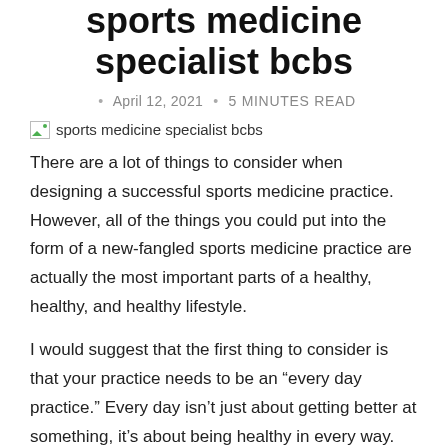sports medicine specialist bcbs
April 12, 2021 • 5 MINUTES READ
[Figure (photo): Image placeholder for sports medicine specialist bcbs]
There are a lot of things to consider when designing a successful sports medicine practice. However, all of the things you could put into the form of a new-fangled sports medicine practice are actually the most important parts of a healthy, healthy, and healthy lifestyle.
I would suggest that the first thing to consider is that your practice needs to be an “every day practice.” Every day isn’t just about getting better at something, it’s about being healthy in every way. Your practice should be a place where you can do that, but not the only way to do it.